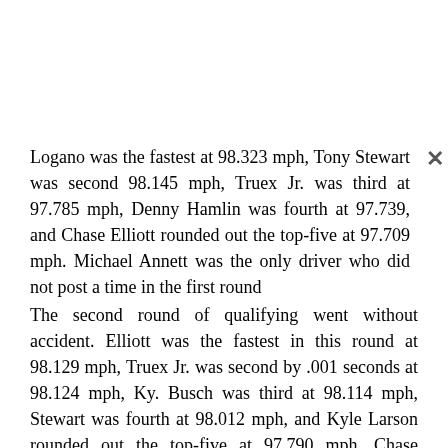Logano was the fastest at 98.323 mph, Tony Stewart was second 98.145 mph, Truex Jr. was third at 97.785 mph, Denny Hamlin was fourth at 97.739, and Chase Elliott rounded out the top-five at 97.709 mph. Michael Annett was the only driver who did not post a time in the first round
The second round of qualifying went without accident. Elliott was the fastest in this round at 98.129 mph, Truex Jr. was second by .001 seconds at 98.124 mph, Ky. Busch was third at 98.114 mph, Stewart was fourth at 98.012 mph, and Kyle Larson rounded out the top-five at 97.790 mph. Chase drivers who did not advance include Matt Kenseth who qualified 17th, Kevin Harvick who qualified 20th, and Kurt Busch qualified 23rd. Notable drivers who advanced to the final round were David Ragan and AJ Allmendinger.